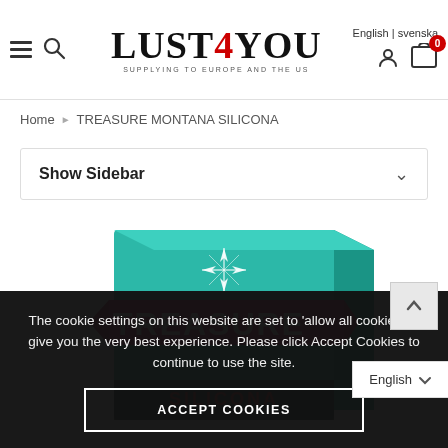English | svenska  ≡  🔍  LUST 4 YOU SUPPLYING TO EUROPE AND THE US  👤  🛒 0
Home ▶ TREASURE MONTANA SILICONA
Show Sidebar
[Figure (photo): Product box for TREASURE by montana brand, teal/turquoise colored box with a pink diagonal banner reading 'montana' and large white text 'TREASURE' on the front]
The cookie settings on this website are set to 'allow all cookies' to give you the very best experience. Please click Accept Cookies to continue to use the site.
ACCEPT COOKIES
English